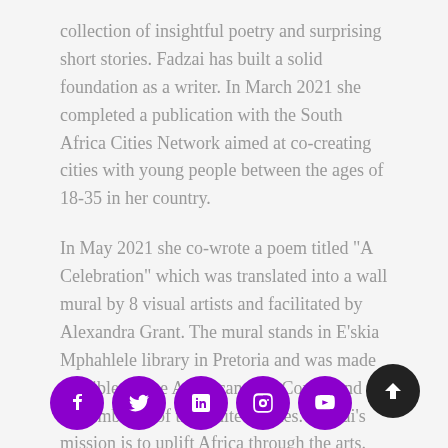collection of insightful poetry and surprising short stories. Fadzai has built a solid foundation as a writer. In March 2021 she completed a publication with the South Africa Cities Network aimed at co-creating cities with young people between the ages of 18-35 in her country.
In May 2021 she co-wrote a poem titled "A Celebration" which was translated into a wall mural by 8 visual artists and facilitated by Alexandra Grant. The mural stands in E'skia Mphahlele library in Pretoria and was made possible by the American Arts Corner and the Embassy of the United States. Fadzai's mission is to uplift Africa through the arts. When she is not writing you can find her planning an Arts event where she helps promote developing artists.
[Figure (other): Social media icons row (Facebook, Twitter, LinkedIn, Instagram, YouTube) as purple circular buttons, and a dark circular back-to-top arrow button]